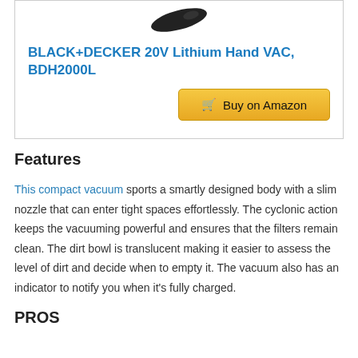[Figure (photo): Partial product image of BLACK+DECKER 20V Lithium Hand VAC at top of card]
BLACK+DECKER 20V Lithium Hand VAC, BDH2000L
[Figure (other): Buy on Amazon button with shopping cart icon]
Features
This compact vacuum sports a smartly designed body with a slim nozzle that can enter tight spaces effortlessly. The cyclonic action keeps the vacuuming powerful and ensures that the filters remain clean. The dirt bowl is translucent making it easier to assess the level of dirt and decide when to empty it. The vacuum also has an indicator to notify you when it’s fully charged.
PROS